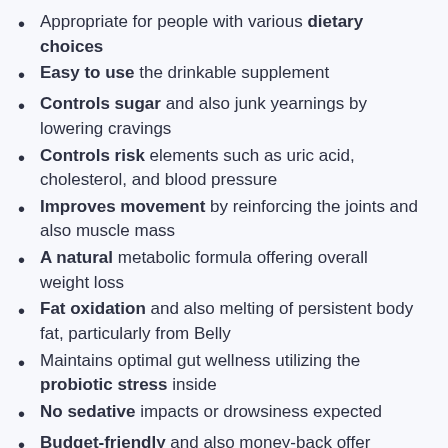Appropriate for people with various dietary choices
Easy to use the drinkable supplement
Controls sugar and also junk yearnings by lowering cravings
Controls risk elements such as uric acid, cholesterol, and blood pressure
Improves movement by reinforcing the joints and also muscle mass
A natural metabolic formula offering overall weight loss
Fat oxidation and also melting of persistent body fat, particularly from Belly
Maintains optimal gut wellness utilizing the probiotic stress inside
No sedative impacts or drowsiness expected
Budget-friendly and also money-back offer